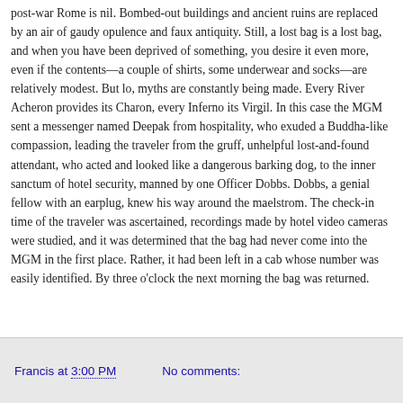post-war Rome is nil. Bombed-out buildings and ancient ruins are replaced by an air of gaudy opulence and faux antiquity. Still, a lost bag is a lost bag, and when you have been deprived of something, you desire it even more, even if the contents—a couple of shirts, some underwear and socks—are relatively modest. But lo, myths are constantly being made. Every River Acheron provides its Charon, every Inferno its Virgil. In this case the MGM sent a messenger named Deepak from hospitality, who exuded a Buddha-like compassion, leading the traveler from the gruff, unhelpful lost-and-found attendant, who acted and looked like a dangerous barking dog, to the inner sanctum of hotel security, manned by one Officer Dobbs. Dobbs, a genial fellow with an earplug, knew his way around the maelstrom. The check-in time of the traveler was ascertained, recordings made by hotel video cameras were studied, and it was determined that the bag had never come into the MGM in the first place. Rather, it had been left in a cab whose number was easily identified. By three o'clock the next morning the bag was returned.
Francis at 3:00 PM   No comments: